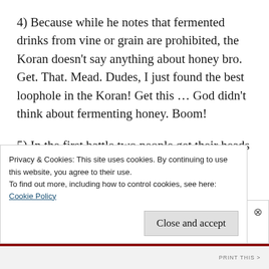4) Because while he notes that fermented drinks from vine or grain are prohibited, the Koran doesn’t say anything about honey bro. Get. That. Mead. Dudes, I just found the best loophole in the Koran! Get this … God didn’t think about fermenting honey. Boom!
5) In the first battle two people get their heads torn off (whaaaaa?). In the second battle five people die leaving six. In the cave one person is
Privacy & Cookies: This site uses cookies. By continuing to use this website, you agree to their use.
To find out more, including how to control cookies, see here:
Cookie Policy
Close and accept